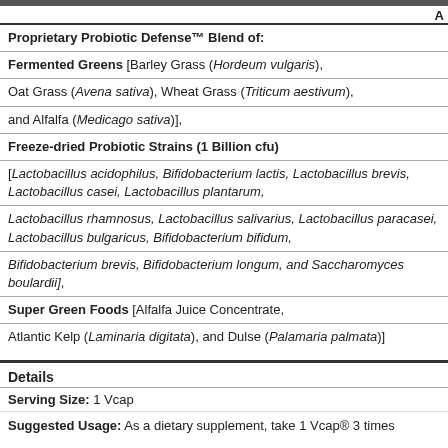| Proprietary Probiotic Defense™ Blend of: |
| Fermented Greens [Barley Grass (Hordeum vulgaris), |
| Oat Grass (Avena sativa), Wheat Grass (Triticum aestivum), |
| and Alfalfa (Medicago sativa)], |
| Freeze-dried Probiotic Strains (1 Billion cfu) |
| [Lactobacillus acidophilus, Bifidobacterium lactis, Lactobacillus brevis, Lactobacillus casei, Lactobacillus plantarum, |
| Lactobacillus rhamnosus, Lactobacillus salivarius, Lactobacillus paracasei, Lactobacillus bulgaricus, Bifidobacterium bifidum, |
| Bifidobacterium brevis, Bifidobacterium longum, and Saccharomyces boulardii], |
| Super Green Foods [Alfalfa Juice Concentrate, |
| Atlantic Kelp (Laminaria digitata), and Dulse (Palamaria palmata)] |
Details
Serving Size: 1 Vcap
Suggested Usage: As a dietary supplement, take 1 Vcap® 3 times